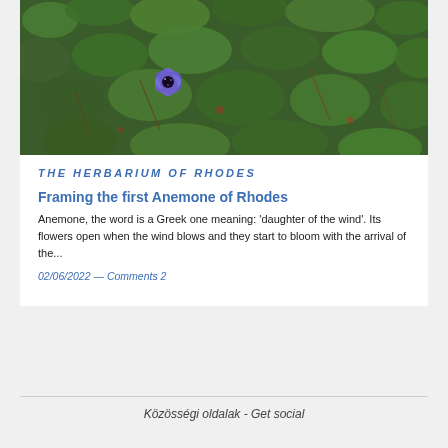[Figure (photo): Close-up photograph of a purple anemone flower surrounded by green foliage and small plants on the ground.]
THE HERBARIUM OF RHODES
Framing the first Anemone of Rhodes
Anemone, the word is a Greek one meaning: 'daughter of the wind'. Its flowers open when the wind blows and they start to bloom with the arrival of the...
02/06/2022 — Comments 2
Közösségi oldalak - Get social